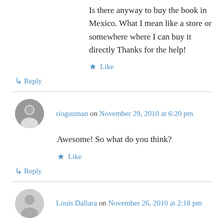Is there anyway to buy the book in Mexico. What I mean like a store or somewhere where I can buy it directly Thanks for the help!
★ Like
↳ Reply
rioguzman on November 29, 2010 at 6:20 pm
Awesome! So what do you think?
★ Like
↳ Reply
Louis Dallara on November 26, 2010 at 2:18 pm
Castaneda was my guru, great post!